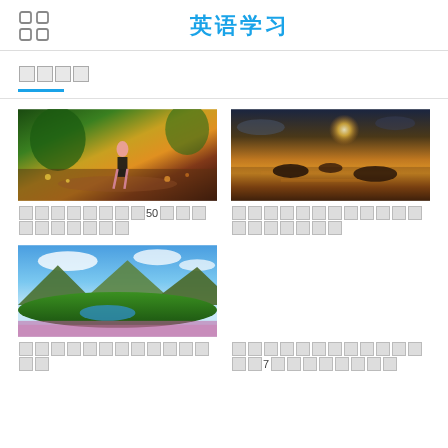英语学习
□□□□
[Figure (photo): Anime girl sitting on rocks in a fantasy garden at sunset with flowers and trees]
□□□□□□□□ 50□□□□□□□□□□
[Figure (photo): Golden sunset over ocean with silhouetted islands]
□□□□□□□□ □□□□□□□□□□□□□
[Figure (photo): Mountain valley with lake and wildflowers under blue sky]
□□□□□□□□□ □□□□□
□□□□□□□□□□□□ □□7□□□□□□□□□